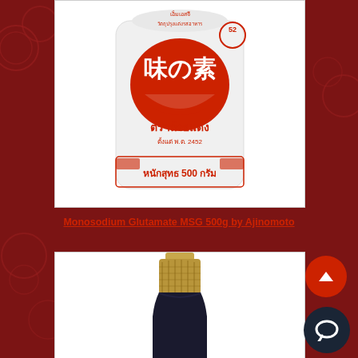[Figure (photo): White plastic bag of Ajinomoto MSG (Monosodium Glutamate) 500g with red Japanese bowl logo and Thai text, on white background]
Monosodium Glutamate MSG 500g by Ajinomoto
[Figure (photo): Top portion of a dark glass bottle with gold/beige wax-sealed cap, on white background]